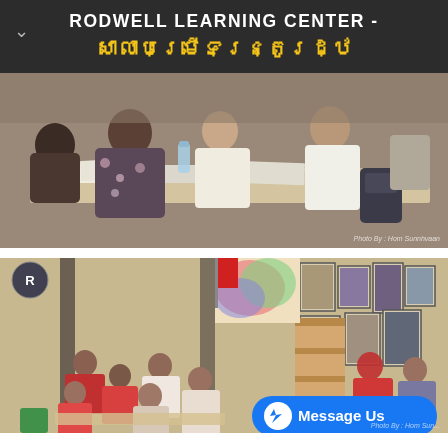RODWELL LEARNING CENTER - សាលាបម្រើទន្ត្រូរដ្ឋ
[Figure (photo): Students sitting around tables studying together in a classroom, black and white floral outfit visible, papers on table. Photo credit: Photo By: Hom Sunnhvaan]
[Figure (photo): Large open learning center room with many students seated at tables studying, wooden shelves, artwork on walls, pillars visible. Messenger 'Message Us' button overlay. Photo credit: Photo By: Hom Sun...]